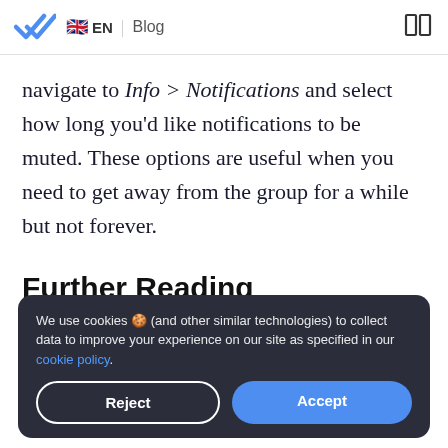EN | Blog
navigate to Info > Notifications and select how long you’d like notifications to be muted. These options are useful when you need to get away from the group for a while but not forever.
Further Reading
We use cookies 🍪 (and other similar technologies) to collect data to improve your experience on our site as specified in our cookie policy.